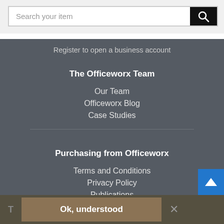[Figure (screenshot): Search bar with text input 'Search your item' and black search button with magnifying glass icon]
Register to open a business account
The Officeworx Team
Our Team
Officeworx Blog
Case Studies
Purchasing from Officeworx
Terms and Conditions
Privacy Policy
Publications
Contact Us Here
Ok, understood